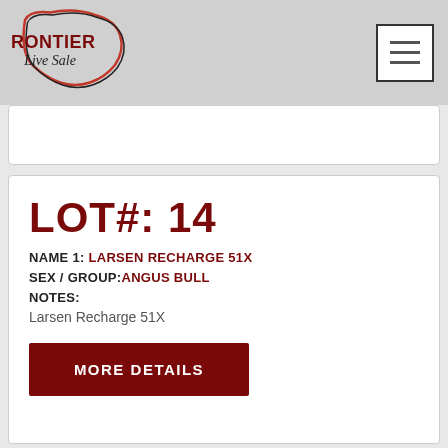Frontier Live Sale
LOT#: 14
NAME 1: LARSEN RECHARGE 51X
SEX / GROUP: ANGUS BULL
NOTES:
Larsen Recharge 51X
MORE DETAILS